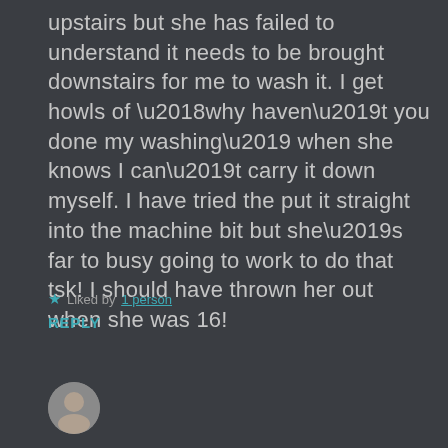upstairs but she has failed to understand it needs to be brought downstairs for me to wash it. I get howls of ‘why haven’t you done my washing’ when she knows I can’t carry it down myself. I have tried the put it straight into the machine bit but she’s far to busy going to work to do that tsk! I should have thrown her out when she was 16!
★ Liked by 1 person
REPLY